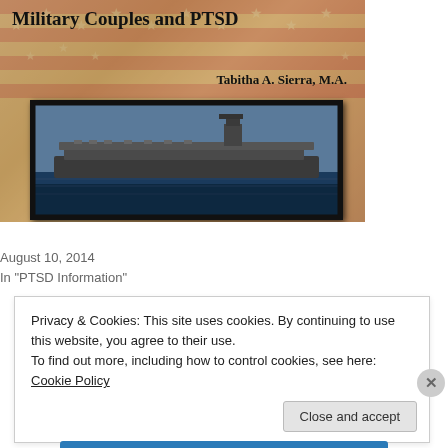[Figure (illustration): Book cover for 'Military Couples and PTSD' by Tabitha A. Sierra, M.A. showing an American flag background with stars and a framed photo of a naval aircraft carrier at sea.]
Military Couples and PTSD
August 10, 2014
In "PTSD Information"
Privacy & Cookies: This site uses cookies. By continuing to use this website, you agree to their use.
To find out more, including how to control cookies, see here: Cookie Policy